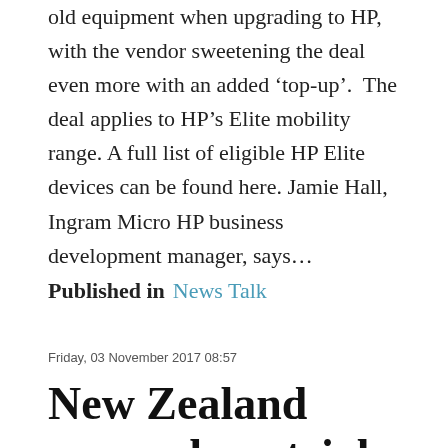old equipment when upgrading to HP, with the vendor sweetening the deal even more with an added ‘top-up’.  The deal applies to HP’s Elite mobility range. A full list of eligible HP Elite devices can be found here. Jamie Hall, Ingram Micro HP business development manager, says…
Read More...
Published in   News Talk
Friday, 03 November 2017 08:57
New Zealand researchers trial wireless sensor to